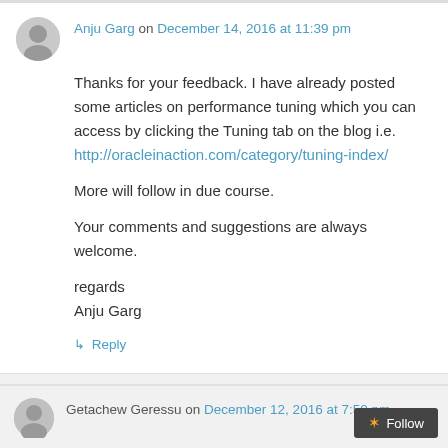Anju Garg on December 14, 2016 at 11:39 pm
Thanks for your feedback. I have already posted some articles on performance tuning which you can access by clicking the Tuning tab on the blog i.e. http://oracleinaction.com/category/tuning-index/

More will follow in due course.

Your comments and suggestions are always welcome.

regards
Anju Garg
↳ Reply
Getachew Geressu on December 12, 2016 at 7:50 pm